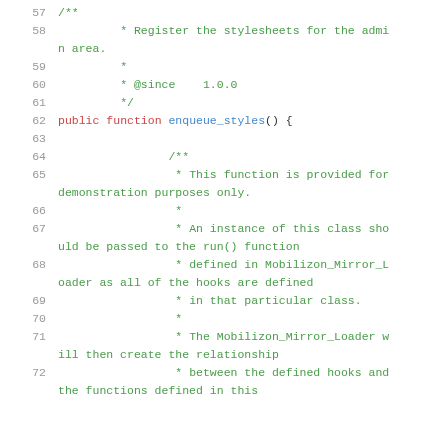Code listing lines 57-72, PHP source code with comments about registering stylesheets for the admin area and the enqueue_styles() function documentation.